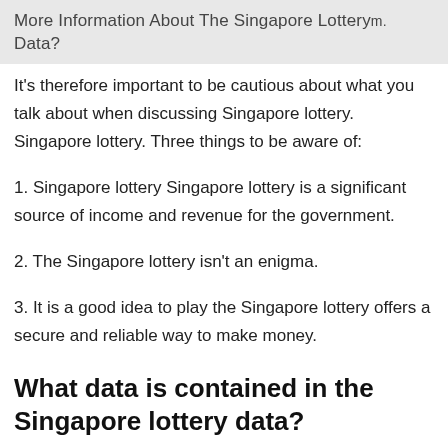More Information About The Singapore Lottery Data?
It's therefore important to be cautious about what you talk about when discussing Singapore lottery. Singapore lottery. Three things to be aware of:
1. Singapore lottery Singapore lottery is a significant source of income and revenue for the government.
2. The Singapore lottery isn't an enigma.
3. It is a good idea to play the Singapore lottery offers a secure and reliable way to make money.
What data is contained in the Singapore lottery data?